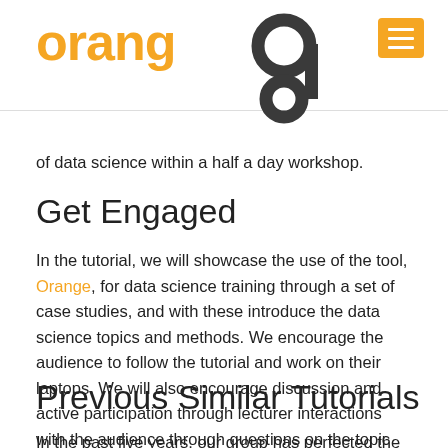orange
of data science within a half a day workshop.
Get Engaged
In the tutorial, we will showcase the use of the tool, Orange, for data science training through a set of case studies, and with these introduce the data science topics and methods. We encourage the audience to follow the tutorial and work on their laptops. We will also encourage discussion and active participation through lecturer interactions with the audience through questions on the topic and on the chosen case studies.
Previous Similar Tutorials
In the past five years, our group has perfected the hands-in training and have experience at the tutorial and hands-